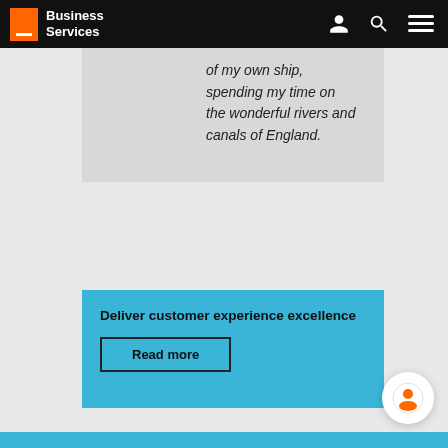Business Services
of my own ship, spending my time on the wonderful rivers and canals of England.
Deliver customer experience excellence
Read more
[Figure (illustration): Orange avatar/person icon inside a white circle in the bottom right corner]